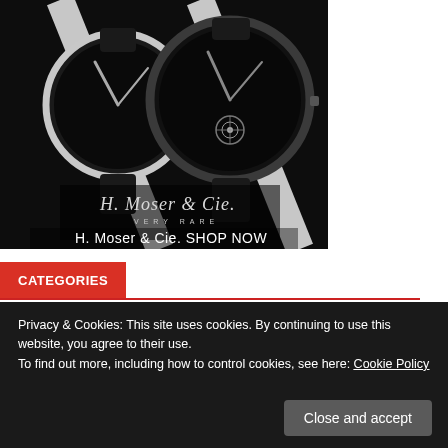[Figure (photo): Advertisement photo of two H. Moser & Cie luxury watches with black dials and straps on a dark background. Text overlay reads: H. Moser & Cie logo (script), VERY RARE, H. Moser & Cie. SHOP NOW]
CATEGORIES
Privacy & Cookies: This site uses cookies. By continuing to use this website, you agree to their use.
To find out more, including how to control cookies, see here: Cookie Policy
Close and accept